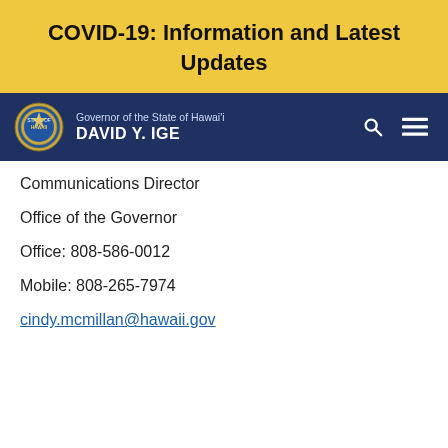COVID-19: Information and Latest Updates
[Figure (logo): Navigation bar with State of Hawaii seal and Governor David Y. Ige name and title, with search and menu icons]
Communications Director
Office of the Governor
Office: 808-586-0012
Mobile: 808-265-7974
cindy.mcmillan@hawaii.gov